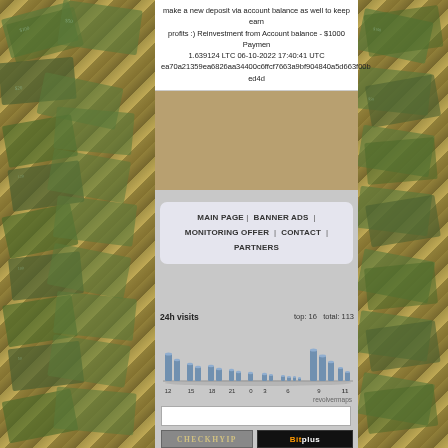make a new deposit via account balance as well to keep earning profits :) Reinvestment from Account balance - $1000 Payment 1.639124 LTC 06-10-2022 17:40:41 UTC ea70a21359ea6826aa34400c6ffcf7663a9bf904840a5d663f00b... ed4d
MAIN PAGE | BANNER ADS | MONITORING OFFER | CONTACT | PARTNERS
24h visits   top: 16  total: 113
[Figure (bar-chart): Bar chart showing 24h visit distribution by hour]
revolvermaps
[Figure (other): White placeholder rectangle - map or widget area]
[Figure (logo): CHECK logo badge]
[Figure (logo): Bitplus logo on black background]